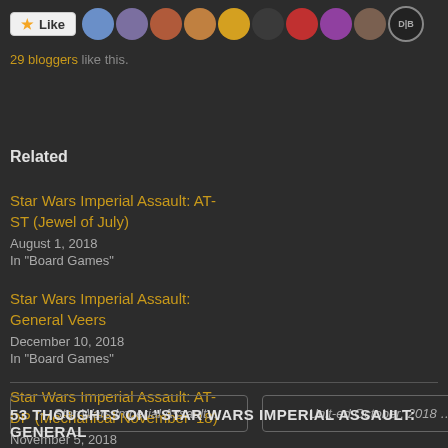[Figure (other): Like button with star icon and row of blogger avatar thumbnails]
29 bloggers like this.
Related
Star Wars Imperial Assault: AT-ST (Jewel of July)
August 1, 2018
In "Board Games"
Star Wars Imperial Assault: General Veers
December 10, 2018
In "Board Games"
Star Wars Imperial Assault: AT-DP (Mechanical November '18)
November 5, 2018
In "Board Games"
← Star Wars Imperial Assault:...
Unit-ed October: 2018 …
53 THOUGHTS ON "STAR WARS IMPERIAL ASSAULT: GENERAL